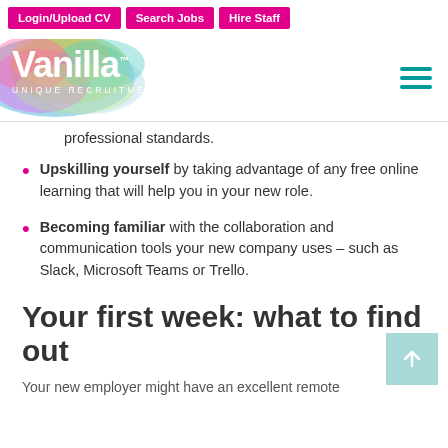Login/Upload CV | Search Jobs | Hire Staff
[Figure (logo): Vanilla Unique Recruitment logo with colorful blob background]
professional standards.
Upskilling yourself by taking advantage of any free online learning that will help you in your new role.
Becoming familiar with the collaboration and communication tools your new company uses – such as Slack, Microsoft Teams or Trello.
Your first week: what to find out
Your new employer might have an excellent remote